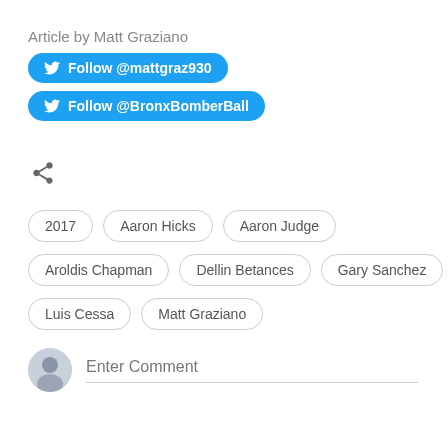Article by Matt Graziano
Follow @mattgraz930
Follow @BronxBomberBall
[Figure (other): Share icon (connected dots)]
2017
Aaron Hicks
Aaron Judge
Aroldis Chapman
Dellin Betances
Gary Sanchez
Luis Cessa
Matt Graziano
Enter Comment